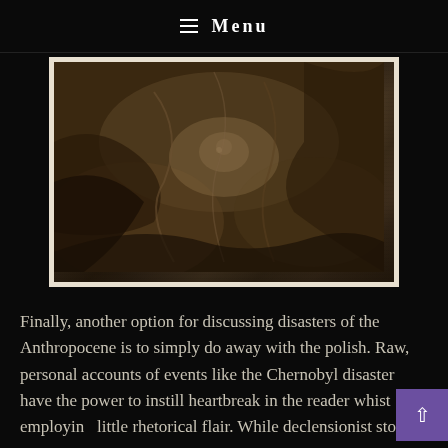≡ Menu
[Figure (photo): Sepia-toned historical photograph showing draped fabric or canvas in a dark, shadowy scene, possibly related to a disaster or wartime event. The image is framed with a white border.]
Finally, another option for discussing disasters of the Anthropocene is to simply do away with the polish. Raw, personal accounts of events like the Chernobyl disaster have the power to instill heartbreak in the reader whist employing little rhetorical flair. While declensionist stories